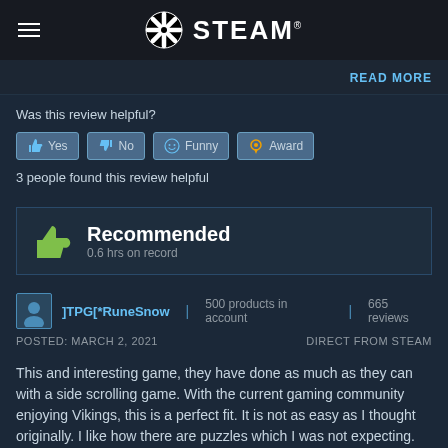STEAM
READ MORE
Was this review helpful?
Yes | No | Funny | Award
3 people found this review helpful
Recommended
0.6 hrs on record
]TPG[*RuneSnow | 500 products in account | 665 reviews
POSTED: MARCH 2, 2021   DIRECT FROM STEAM
This and interesting game, they have done as much as they can with a side scrolling game. With the current gaming community enjoying Vikings, this is a perfect fit. It is not as easy as I thought originally. I like how there are puzzles which I was not expecting.